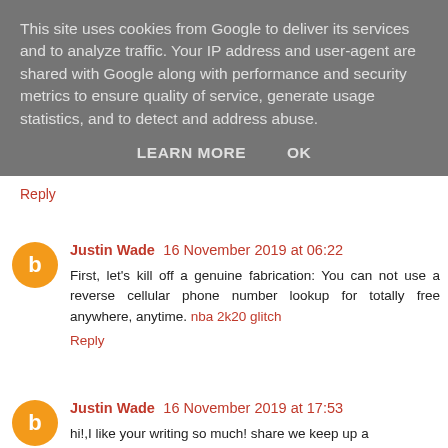This site uses cookies from Google to deliver its services and to analyze traffic. Your IP address and user-agent are shared with Google along with performance and security metrics to ensure quality of service, generate usage statistics, and to detect and address abuse.
LEARN MORE   OK
Reply
Justin Wade  16 November 2019 at 06:22
First, let's kill off a genuine fabrication: You can not use a reverse cellular phone number lookup for totally free anywhere, anytime. nba 2k20 glitch
Reply
Justin Wade  16 November 2019 at 17:53
hi!,I like your writing so much! share we keep up a